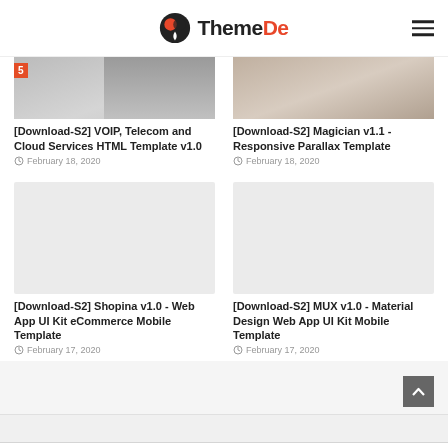ThemeDe
[Figure (screenshot): Thumbnail image for VOIP Telecom article, showing person at desk with HTML5 badge]
[Download-S2] VOIP, Telecom and Cloud Services HTML Template v1.0
February 18, 2020
[Figure (screenshot): Thumbnail image for Magician template article]
[Download-S2] Magician v1.1 - Responsive Parallax Template
February 18, 2020
[Figure (screenshot): Placeholder thumbnail for Shopina article]
[Download-S2] Shopina v1.0 - Web App UI Kit eCommerce Mobile Template
February 17, 2020
[Figure (screenshot): Placeholder thumbnail for MUX article]
[Download-S2] MUX v1.0 - Material Design Web App UI Kit Mobile Template
February 17, 2020